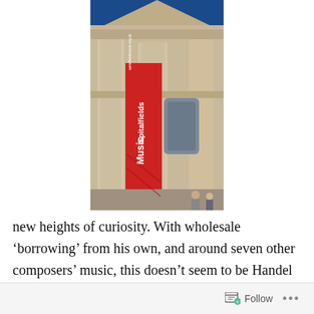[Figure (photo): Upward-angle photograph of a classical stone building with tall columns and a blue sky. A red vertical banner reading 'Spitalfields Music' with website address is hung between the columns.]
new heights of curiosity. With wholesale 'borrowing' from his own, and around seven other composers' music, this doesn't seem to be Handel at his most sincere. Amongst other oddities, he turned a wedding cantata by Stradella into a chorus about plagues. It was performed in the